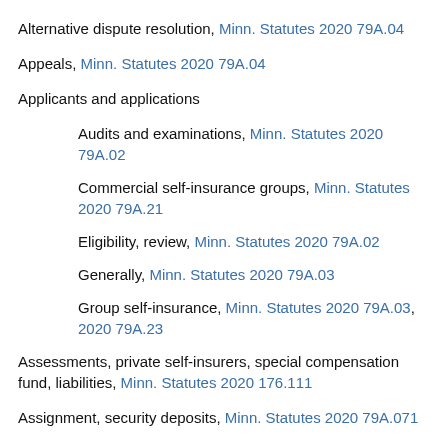Alternative dispute resolution, Minn. Statutes 2020 79A.04
Appeals, Minn. Statutes 2020 79A.04
Applicants and applications
Audits and examinations, Minn. Statutes 2020 79A.02
Commercial self-insurance groups, Minn. Statutes 2020 79A.21
Eligibility, review, Minn. Statutes 2020 79A.02
Generally, Minn. Statutes 2020 79A.03
Group self-insurance, Minn. Statutes 2020 79A.03, 2020 79A.23
Assessments, private self-insurers, special compensation fund, liabilities, Minn. Statutes 2020 176.111
Assignment, security deposits, Minn. Statutes 2020 79A.071